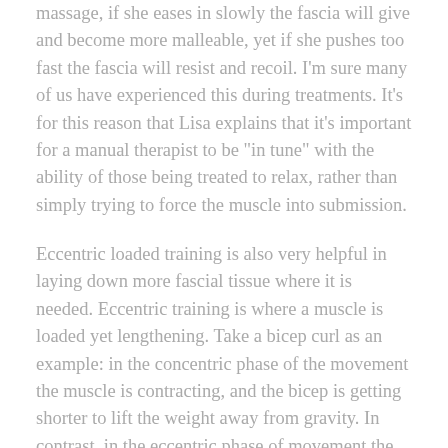massage, if she eases in slowly the fascia will give and become more malleable, yet if she pushes too fast the fascia will resist and recoil. I'm sure many of us have experienced this during treatments. It's for this reason that Lisa explains that it's important for a manual therapist to be "in tune" with the ability of those being treated to relax, rather than simply trying to force the muscle into submission.
Eccentric loaded training is also very helpful in laying down more fascial tissue where it is needed. Eccentric training is where a muscle is loaded yet lengthening. Take a bicep curl as an example: in the concentric phase of the movement the muscle is contracting, and the bicep is getting shorter to lift the weight away from gravity. In contrast, in the eccentric phase of movement the arm extends, and the muscle slowly lengthens as you return the weight toward gravity i.e. lengthening under load.